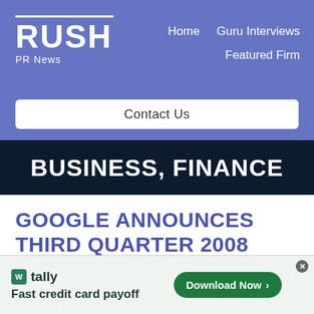RUSH PR News — Home | Guru Interviews | Featured Firm | Contact Us
BUSINESS, FINANCE
GOOGLE ANNOUNCES THIRD QUARTER 2008 RESULTS
[Figure (screenshot): Tally advertisement banner: 'tally — Fast credit card payoff' with a green Download Now button]